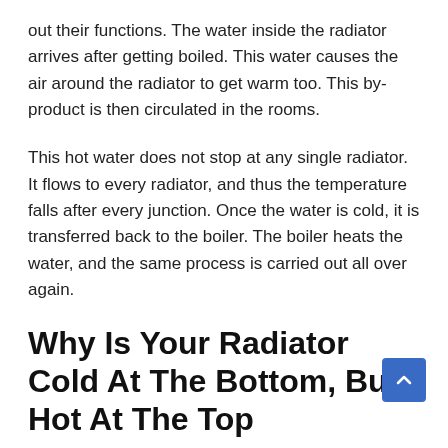out their functions. The water inside the radiator arrives after getting boiled. This water causes the air around the radiator to get warm too. This by-product is then circulated in the rooms.
This hot water does not stop at any single radiator. It flows to every radiator, and thus the temperature falls after every junction. Once the water is cold, it is transferred back to the boiler. The boiler heats the water, and the same process is carried out all over again.
Why Is Your Radiator Cold At The Bottom, But Hot At The Top